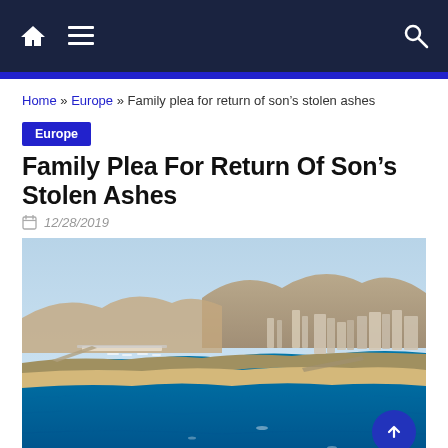Navigation bar with home icon, menu icon, and search icon
Home » Europe » Family plea for return of son's stolen ashes
Europe
Family Plea For Return Of Son's Stolen Ashes
12/28/2019
[Figure (photo): Aerial photograph of a coastal Mediterranean city with a marina, beach, urban buildings, blue sea water, and arid hills in the background.]